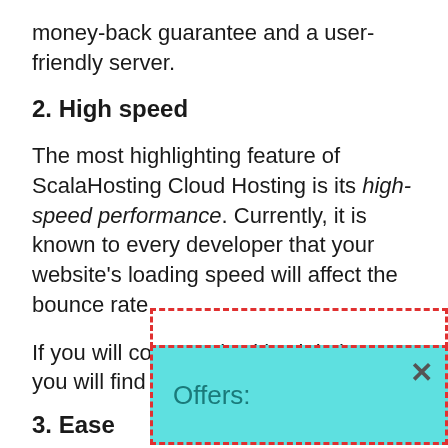money-back guarantee and a user-friendly server.
2. High speed
The most highlighting feature of ScalaHosting Cloud Hosting is its high-speed performance. Currently, it is known to every developer that your website’s loading speed will affect the bounce rate.
If you will compare it with DigitalOcean, you will find it at the same level.
3. Ease
Offers: